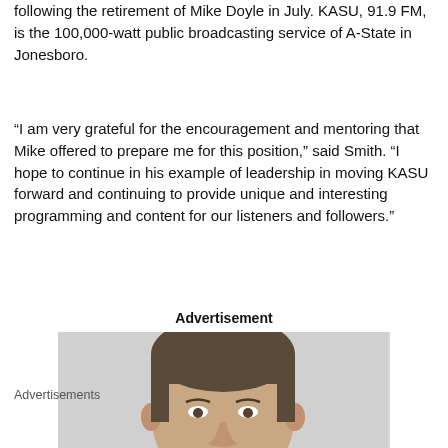following the retirement of Mike Doyle in July. KASU, 91.9 FM, is the 100,000-watt public broadcasting service of A-State in Jonesboro.
“I am very grateful for the encouragement and mentoring that Mike offered to prepare me for this position,” said Smith. “I hope to continue in his example of leadership in moving KASU forward and continuing to provide unique and interesting programming and content for our listeners and followers.”
Advertisement
[Figure (photo): Advertisement photo showing a man's face and head, cropped portrait style against a light gray background.]
Advertisements